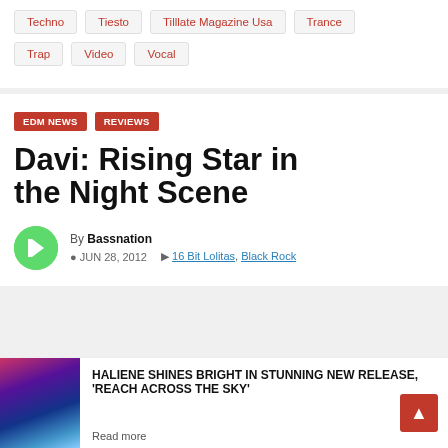Techno
Tiesto
Tilllate Magazine Usa
Trance
Trap
Video
Vocal
EDM NEWS
REVIEWS
Davi: Rising Star in the Night Scene
By Bassnation
JUN 28, 2012
16 Bit Lolitas, Black Rock
HALIENE SHINES BRIGHT IN STUNNING NEW RELEASE, 'REACH ACROSS THE SKY'
Read more